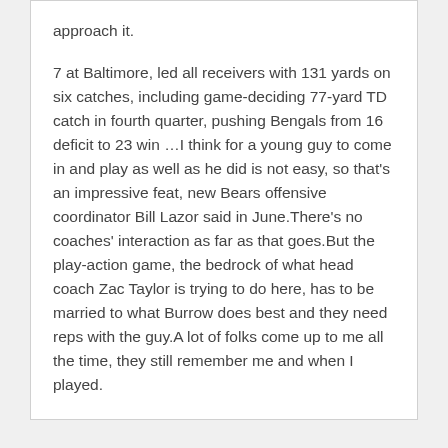approach it.

7 at Baltimore, led all receivers with 131 yards on six catches, including game-deciding 77-yard TD catch in fourth quarter, pushing Bengals from 16 deficit to 23 win …I think for a young guy to come in and play as well as he did is not easy, so that's an impressive feat, new Bears offensive coordinator Bill Lazor said in June.There's no coaches' interaction as far as that goes.But the play-action game, the bedrock of what head coach Zac Taylor is trying to do here, has to be married to what Burrow does best and they need reps with the guy.A lot of folks come up to me all the time, they still remember me and when I played.